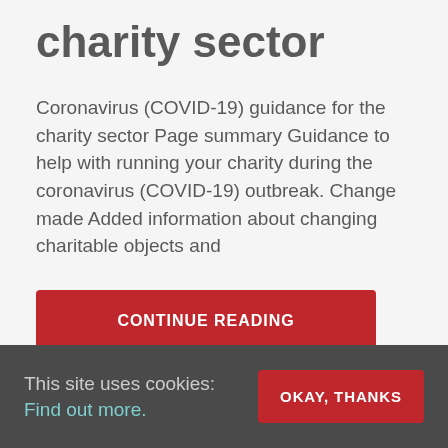charity sector
Coronavirus (COVID-19) guidance for the charity sector Page summary Guidance to help with running your charity during the coronavirus (COVID-19) outbreak. Change made Added information about changing charitable objects and
[Figure (other): Red button with text CONTINUE READING]
This site uses cookies: Find out more. OKAY, THANKS